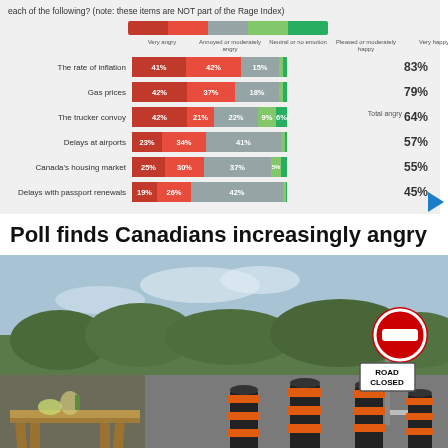[Figure (stacked-bar-chart): Canadians angry about various issues (Rage Index)]
Poll finds Canadians increasingly angry
[Figure (photo): A road closed scene with orange and black construction barrel markers and a Road Closed sign, with a wooden bench/table in the foreground and trees in background.]